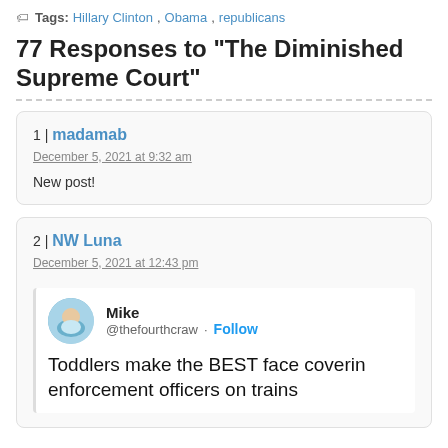Tags: Hillary Clinton, Obama, republicans
77 Responses to "The Diminished Supreme Court"
1 | madamab
December 5, 2021 at 9:32 am
New post!
2 | NW Luna
December 5, 2021 at 12:43 pm
Mike @thefourthcraw · Follow
Toddlers make the BEST face covering enforcement officers on trains